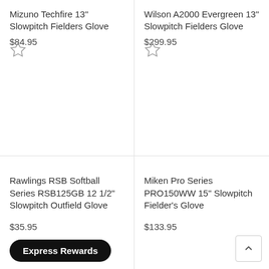Mizuno Techfire 13" Slowpitch Fielders Glove
$84.95
Wilson A2000 Evergreen 13" Slowpitch Fielders Glove
$299.95
Rawlings RSB Softball Series RSB125GB 12 1/2" Slowpitch Outfield Glove
$35.95
Express Rewards
Miken Pro Series PRO150WW 15" Slowpitch Fielder's Glove
$133.95